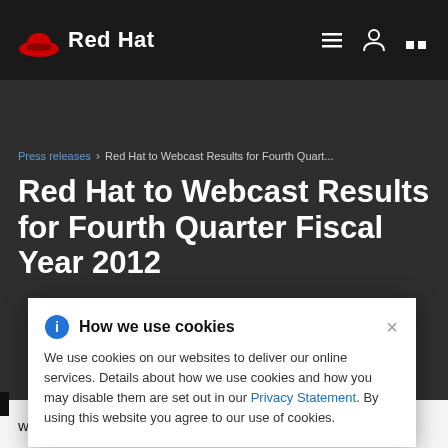Red Hat
Press releases › Red Hat to Webcast Results for Fourth Quart...
Red Hat to Webcast Results for Fourth Quarter Fiscal Year 2012
How we use cookies

We use cookies on our websites to deliver our online services. Details about how we use cookies and how you may disable them are set out in our Privacy Statement. By using this website you agree to our use of cookies.
SE: RHT), the world's leading provider of open source solutions, will